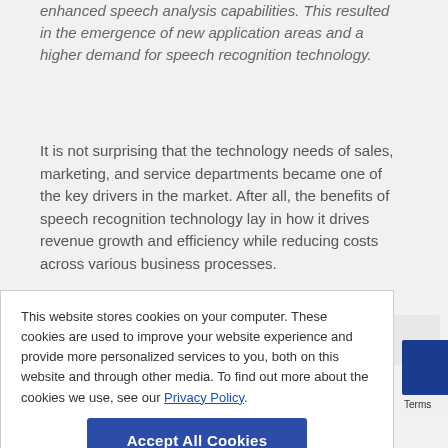enhanced speech analysis capabilities. This resulted in the emergence of new application areas and a higher demand for speech recognition technology.
It is not surprising that the technology needs of sales, marketing, and service departments became one of the key drivers in the market. After all, the benefits of speech recognition technology lay in how it drives revenue growth and efficiency while reducing costs across various business processes.
This website stores cookies on your computer. These cookies are used to improve your website experience and provide more personalized services to you, both on this website and through other media. To find out more about the cookies we use, see our Privacy Policy.
Accept All Cookies